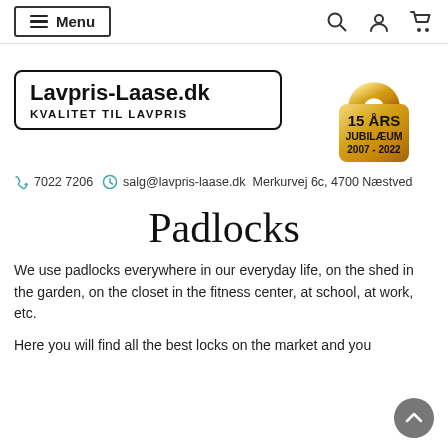Menu  [search] [account] [cart]
[Figure (logo): Lavpris-Laase.dk logo with text 'KVALITET TIL LAVPRIS' and a gold padlock badge showing '15 ÅRS JUBILÆUM 2007 - 2022']
7022 7206  salg@lavpris-laase.dk  Merkurvej 6c, 4700 Næstved
Padlocks
We use padlocks everywhere in our everyday life, on the shed in the garden, on the closet in the fitness center, at school, at work, etc.
Here you will find all the best locks on the market and you